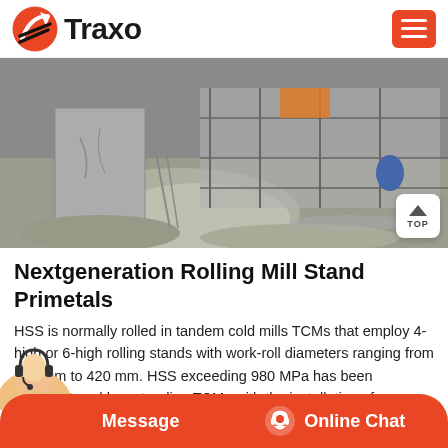Traxo
[Figure (photo): Construction site photo showing concrete structure with debris, mud and scaffolding in background]
Nextgeneration Rolling Mill Stand Primetals
HSS is normally rolled in tandem cold mills TCMs that employ 4-high or 6-high rolling stands with work-roll diameters ranging from 630 mm to 420 mm. HSS exceeding 980 MPa has been manufactured by extending TCMs with the installation of an additional mill stand.